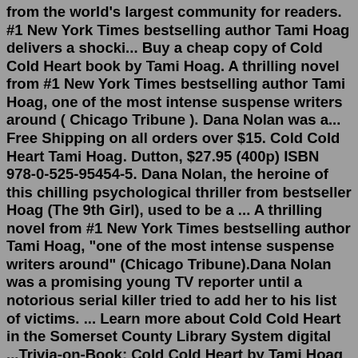from the world's largest community for readers. #1 New York Times bestselling author Tami Hoag delivers a shocki... Buy a cheap copy of Cold Cold Heart book by Tami Hoag. A thrilling novel from #1 New York Times bestselling author Tami Hoag, one of the most intense suspense writers around ( Chicago Tribune ). Dana Nolan was a... Free Shipping on all orders over $15. Cold Cold Heart Tami Hoag. Dutton, $27.95 (400p) ISBN 978-0-525-95454-5. Dana Nolan, the heroine of this chilling psychological thriller from bestseller Hoag (The 9th Girl), used to be a ... A thrilling novel from #1 New York Times bestselling author Tami Hoag, "one of the most intense suspense writers around" (Chicago Tribune).Dana Nolan was a promising young TV reporter until a notorious serial killer tried to add her to his list of victims. ... Learn more about Cold Cold Heart in the Somerset County Library System digital ...Trivia-on-Book: Cold Cold Heart by Tami Hoag Take the challenge and share it with friends and family for a time of fun! You may have read the book, but not have liked it. You may